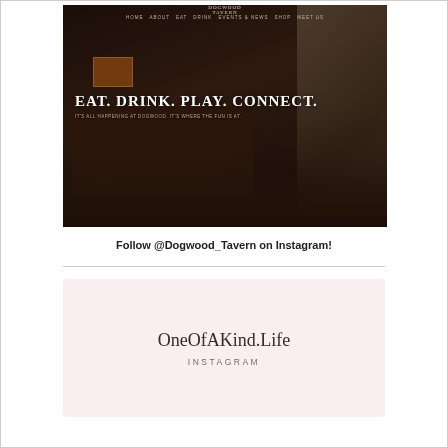[Figure (screenshot): Screenshot of Dogwood Tavern website homepage showing a dark nighttime exterior photo of the restaurant with the text 'EAT. DRINK. PLAY. CONNECT.' overlaid in white serif font, with a navigation bar at the top and a tagline below]
Follow @Dogwood_Tavern on Instagram!
[Figure (logo): OneOfAKind.Life Instagram logo/badge on a light pink background with 'INSTAGRAM' subtitle]